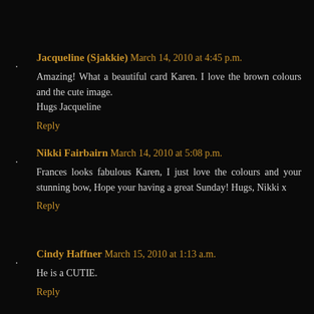Jacqueline (Sjakkie) March 14, 2010 at 4:45 p.m.
Amazing! What a beautiful card Karen. I love the brown colours and the cute image.
Hugs Jacqueline
Reply
Nikki Fairbairn March 14, 2010 at 5:08 p.m.
Frances looks fabulous Karen, I just love the colours and your stunning bow, Hope your having a great Sunday! Hugs, Nikki x
Reply
Cindy Haffner March 15, 2010 at 1:13 a.m.
He is a CUTIE.
Reply